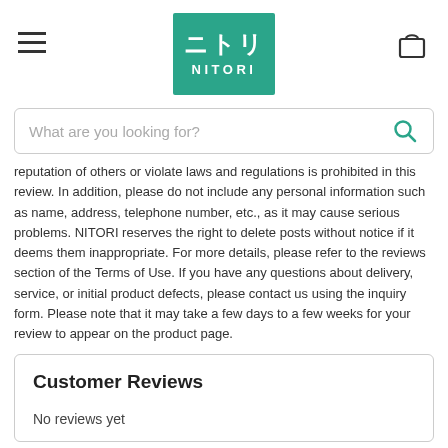[Figure (logo): Nitori logo - green square with Japanese characters and NITORI text in white]
What are you looking for?
reputation of others or violate laws and regulations is prohibited in this review. In addition, please do not include any personal information such as name, address, telephone number, etc., as it may cause serious problems. NITORI reserves the right to delete posts without notice if it deems them inappropriate. For more details, please refer to the reviews section of the Terms of Use. If you have any questions about delivery, service, or initial product defects, please contact us using the inquiry form. Please note that it may take a few days to a few weeks for your review to appear on the product page.
Customer Reviews
No reviews yet